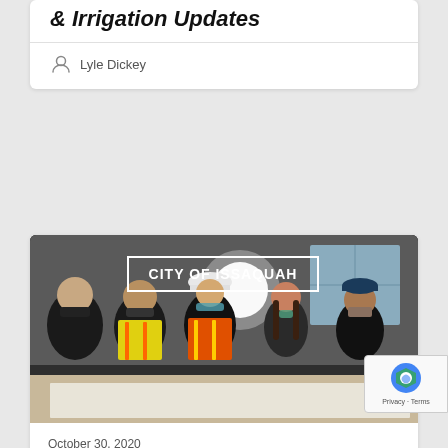& Irrigation Updates
Lyle Dickey
[Figure (photo): Group of five people wearing masks and safety vests looking at plans on a table, with 'CITY OF ISSAQUAH' text overlay]
October 30, 2020
Work Begins on High Street